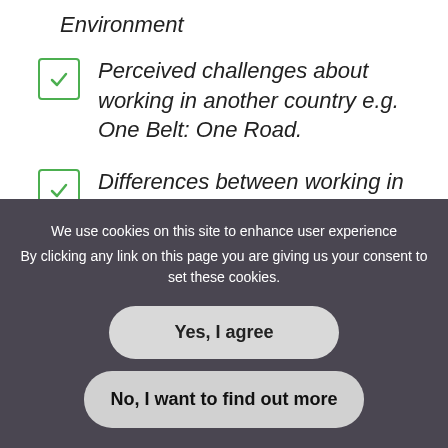Environment
Perceived challenges about working in another country e.g. One Belt: One Road.
Differences between working in mature economies and developing economies
We use cookies on this site to enhance user experience
By clicking any link on this page you are giving us your consent to set these cookies.
Yes, I agree
No, I want to find out more